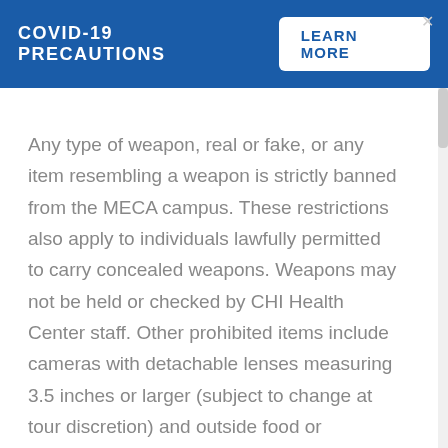COVID-19 PRECAUTIONS  LEARN MORE
Any type of weapon, real or fake, or any item resembling a weapon is strictly banned from the MECA campus. These restrictions also apply to individuals lawfully permitted to carry concealed weapons. Weapons may not be held or checked by CHI Health Center staff. Other prohibited items include cameras with detachable lenses measuring 3.5 inches or larger (subject to change at tour discretion) and outside food or beverage. Signs and banners may not exceed 8.5 inches tall by 11 inches long without prior approval from the venue.